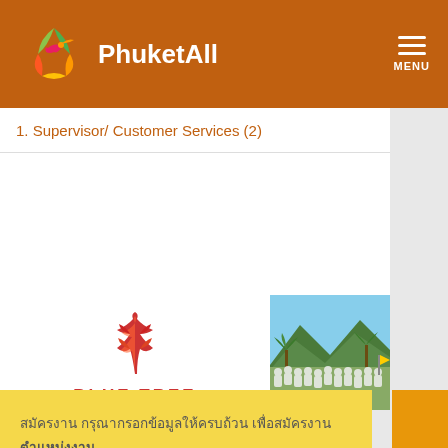PhuketAll — MENU
1. Supervisor/ Customer Services (2)
[Figure (logo): Blue Tree Phuket logo with red spiral tree icon and BLUE TREE text]
[Figure (photo): Outdoor photo showing crowd of people in white shirts at a resort with mountains and palm trees in background]
Thai language text (job description)
สมัครงาน (Apply button)